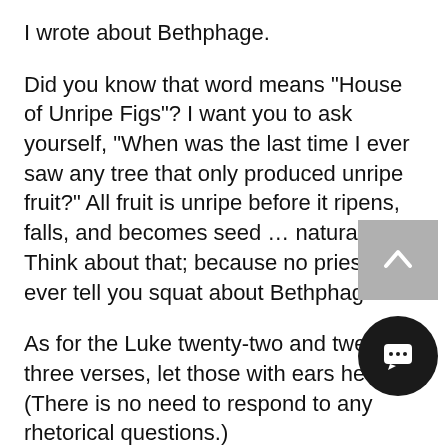I wrote about Bethphage.
Did you know that word means "House of Unripe Figs"?  I want you to ask yourself, "When was the last time I ever saw any tree that only produced unripe fruit?"  All fruit is unripe before it ripens, falls, and becomes seed … naturally.  Think about that; because no priest will ever tell you squat about Bethphage.
As for the Luke twenty-two and twenty-three verses, let those with ears hear:  (There is no need to respond to any rhetorical questions.)
There are two Passover Seder m each year.  Did you know "the last